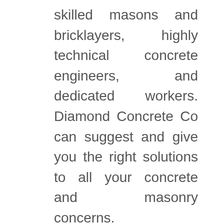skilled masons and bricklayers, highly technical concrete engineers, and dedicated workers. Diamond Concrete Co can suggest and give you the right solutions to all your concrete and masonry concerns.

We have the following concrete services available for our clients in La Habra: concrete driveways, stamped concrete, pool decks, concrete pavers, concrete pouring, installing decorative concrete and concrete patios, and more. Our commitment and skills allowed us to be